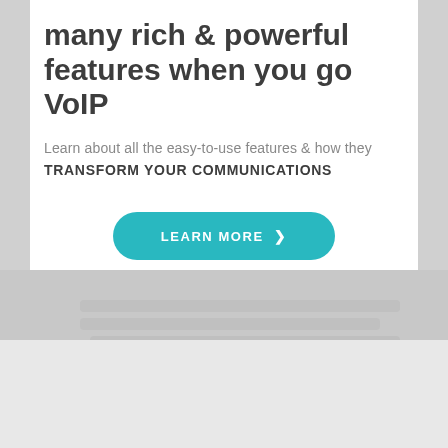many rich & powerful features when you go VoIP
Learn about all the easy-to-use features & how they TRANSFORM YOUR COMMUNICATIONS
[Figure (screenshot): Teal 'LEARN MORE >' call-to-action button with rounded pill shape]
[Figure (photo): Greyscale background photo of a desk with a keyboard or phone device, partially visible in the lower portion of the page]